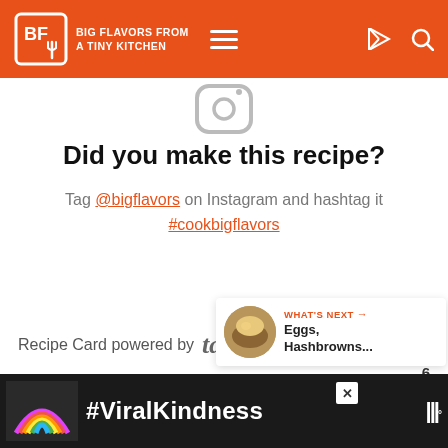BIG FLAVORS FROM A TINY KITCHEN
[Figure (logo): Instagram icon (camera outline) at top center]
Did you make this recipe?
Tag @bigflavors on Instagram and hashtag it #cookbigflavors
Recipe Card powered by tasty RECIPES
[Figure (infographic): WHAT'S NEXT arrow label with thumbnail and text: Eggs, Hashbrowns...]
[Figure (infographic): Advertisement bar at bottom: rainbow illustration with #ViralKindness text]